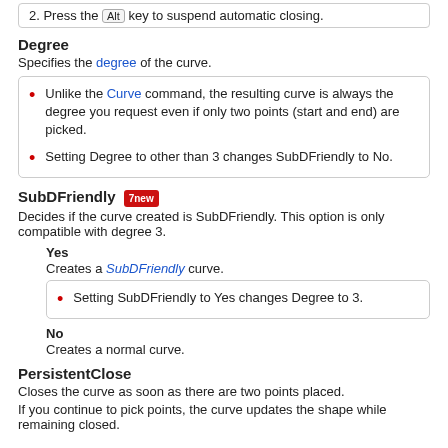2. Press the Alt key to suspend automatic closing.
Degree
Specifies the degree of the curve.
Unlike the Curve command, the resulting curve is always the degree you request even if only two points (start and end) are picked.
Setting Degree to other than 3 changes SubDFriendly to No.
SubDFriendly 7new
Decides if the curve created is SubDFriendly. This option is only compatible with degree 3.
Yes
Creates a SubDFriendly curve.
Setting SubDFriendly to Yes changes Degree to 3.
No
Creates a normal curve.
PersistentClose
Closes the curve as soon as there are two points placed.
If you continue to pick points, the curve updates the shape while remaining closed.